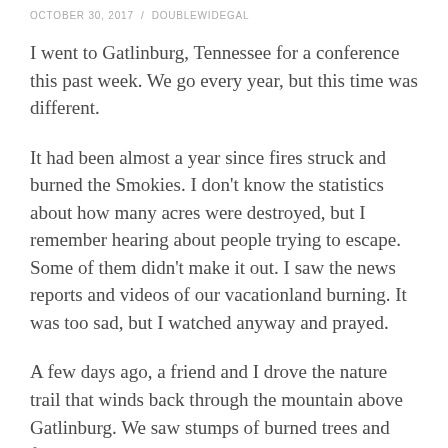OCTOBER 30, 2017 / DOUBLEWIDEGAL
I went to Gatlinburg, Tennessee for a conference this past week. We go every year, but this time was different.
It had been almost a year since fires struck and burned the Smokies. I don't know the statistics about how many acres were destroyed, but I remember hearing about people trying to escape. Some of them didn't make it out. I saw the news reports and videos of our vacationland burning. It was too sad, but I watched anyway and prayed.
A few days ago, a friend and I drove the nature trail that winds back through the mountain above Gatlinburg. We saw stumps of burned trees and foundations that had supported vacation cabins. It was still beautiful, still